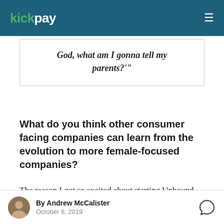kickpay
God, what am I gonna tell my parents?'"
What do you think other consumer facing companies can learn from the evolution to more female-focused companies?
The reason I got so excited about starting Unbound was because it felt really scary. It felt like 'Oh my God, what am I gonna tell my
By Andrew McCalister October 8, 2019